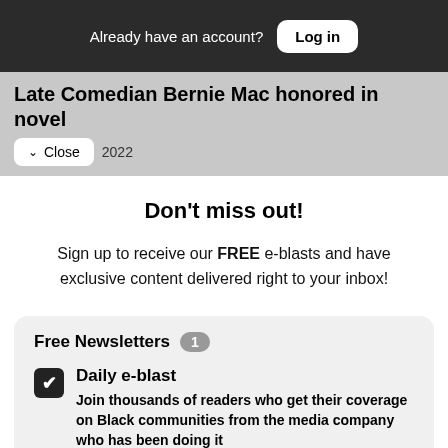Already have an account? Log in
Late Comedian Bernie Mac honored in novel
Close 2022
Don't miss out!
Sign up to receive our FREE e-blasts and have exclusive content delivered right to your inbox!
Free Newsletters 1
Daily e-blast — Join thousands of readers who get their coverage on Black communities from the media company who has been doing it